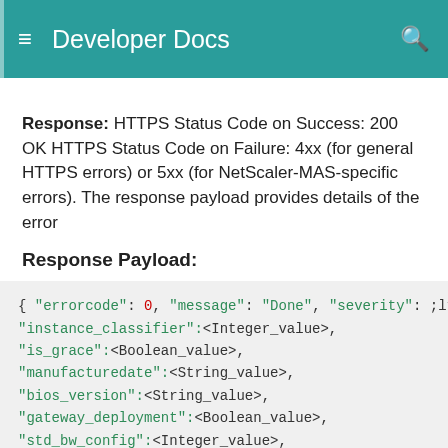Developer Docs
Response: HTTPS Status Code on Success: 200 OK HTTPS Status Code on Failure: 4xx (for general HTTPS errors) or 5xx (for NetScaler-MAS-specific errors). The response payload provides details of the error
Response Payload:
[Figure (screenshot): Code block showing JSON response payload with fields: errorcode, message, severity, instance_classifier, is_grace, manufacturedate, bios_version, gateway_deployment, std_bw_config, is_fips_pooled_license_type]